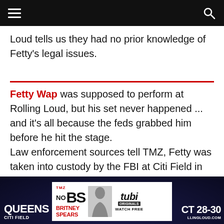Navigation bar with hamburger menu and search icon
Loud tells us they had no prior knowledge of Fetty's legal issues.
Fetty Wap was supposed to perform at Rolling Loud, but his set never happened ... and it's all because the feds grabbed him before he hit the stage.
Law enforcement sources tell TMZ, Fetty was taken into custody by the FBI at Citi Field in New York Thursday. We're told he was arrested on federal drug charges, though the specifics aren't yet known.
[Figure (advertisement): TMZ No BS Britney Spears advertisement on Tubi Originals Watch Free, shown in bottom banner area over a dark Rolling Loud background showing QUEENS CITI FIELD on left, OCT 28-30 ROLLINGLOUD.COM on right]